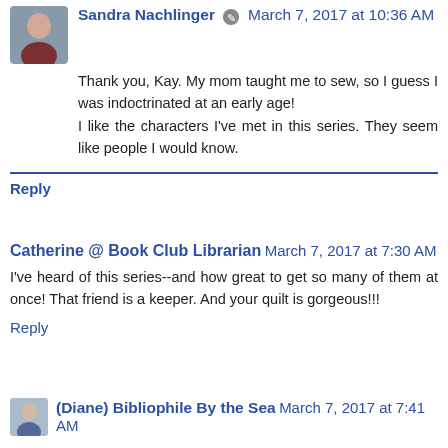Sandra Nachlinger [edit icon] March 7, 2017 at 10:36 AM
Thank you, Kay. My mom taught me to sew, so I guess I was indoctrinated at an early age!
I like the characters I've met in this series. They seem like people I would know.
Reply
Catherine @ Book Club Librarian March 7, 2017 at 7:30 AM
I've heard of this series--and how great to get so many of them at once! That friend is a keeper. And your quilt is gorgeous!!!
Reply
(Diane) Bibliophile By the Sea March 7, 2017 at 7:41 AM